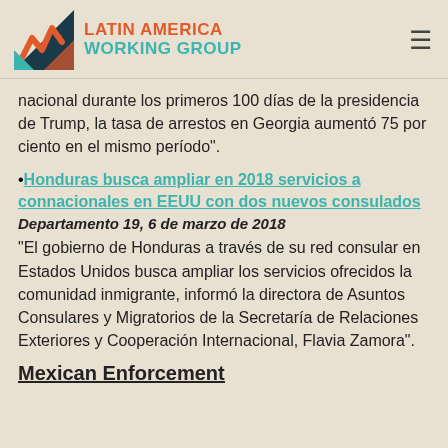LATIN AMERICA WORKING GROUP
nacional durante los primeros 100 días de la presidencia de Trump, la tasa de arrestos en Georgia aumentó 75 por ciento en el mismo período”.
•Honduras busca ampliar en 2018 servicios a connacionales en EEUU con dos nuevos consulados
Departamento 19, 6 de marzo de 2018
“El gobierno de Honduras a través de su red consular en Estados Unidos busca ampliar los servicios ofrecidos la comunidad inmigrante, informó la directora de Asuntos Consulares y Migratorios de la Secretaría de Relaciones Exteriores y Cooperación Internacional, Flavia Zamora”.
Mexican Enforcement